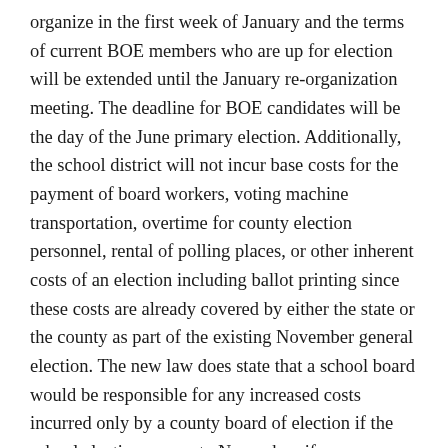organize in the first week of January and the terms of current BOE members who are up for election will be extended until the January re-organization meeting. The deadline for BOE candidates will be the day of the June primary election. Additionally, the school district will not incur base costs for the payment of board workers, voting machine transportation, overtime for county election personnel, rental of polling places, or other inherent costs of an election including ballot printing since these costs are already covered by either the state or the county as part of the existing November general election. The new law does state that a school board would be responsible for any increased costs incurred only by a county board of election if the school election moves to November, if any.
The same legislation will also remove the voting of a